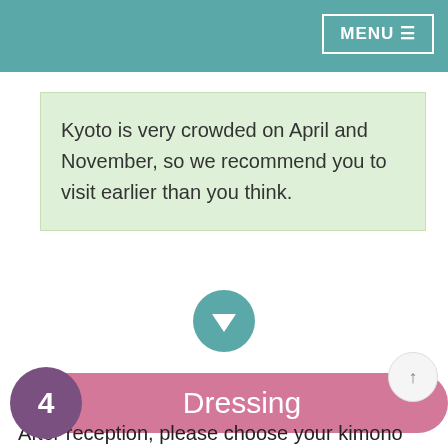MENU ☰
Kyoto is very crowded on April and November, so we recommend you to visit earlier than you think.
[Figure (infographic): Teal circle with a white downward arrow icon]
4  Dressing
After reception, please choose your kimono and option. And please wait until your turn comes.